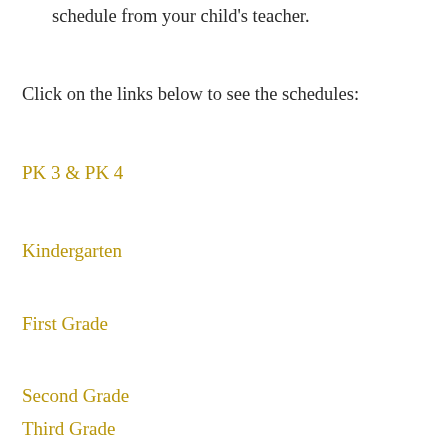schedule from your child's teacher.
Click on the links below to see the schedules:
PK 3 & PK 4
Kindergarten
First Grade
Second Grade
Third Grade